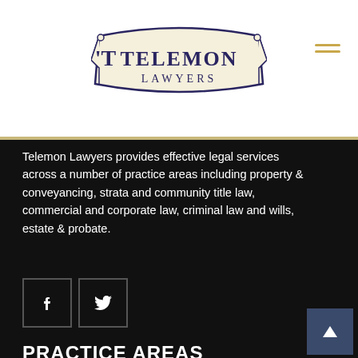[Figure (logo): Telemon Lawyers logo with banner ribbon design]
Telemon Lawyers provides effective legal services across a number of practice areas including property & conveyancing, strata and community title law, commercial and corporate law, criminal law and wills, estate & probate.
[Figure (infographic): Facebook and Twitter social media icon boxes]
PRACTICE AREAS
Commercial Law
Conveyancing & Property Law
Elder Law